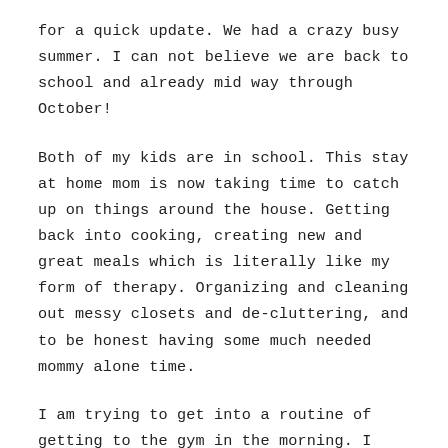for a quick update. We had a crazy busy summer. I can not believe we are back to school and already mid way through October!
Both of my kids are in school. This stay at home mom is now taking time to catch up on things around the house. Getting back into cooking, creating new and great meals which is literally like my form of therapy. Organizing and cleaning out messy closets and de-cluttering, and to be honest having some much needed mommy alone time.
I am trying to get into a routine of getting to the gym in the morning. I usually doing a quick round up of the house and make my way there.